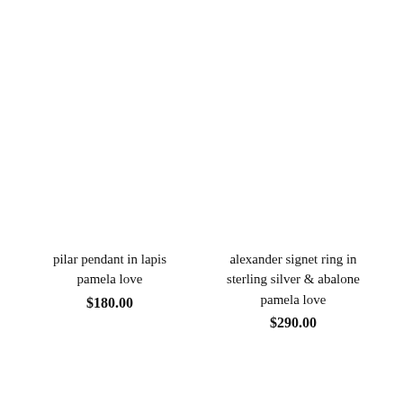pilar pendant in lapis
pamela love
$180.00
alexander signet ring in sterling silver & abalone
pamela love
$290.00